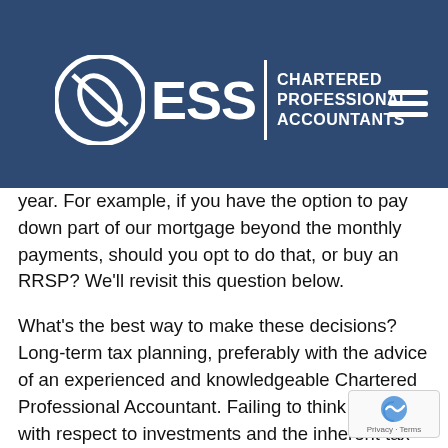TAX SAVINGS DECISIONS
[Figure (logo): ESS Chartered Professional Accountants logo with circular icon, ESS text, vertical divider, and CPA text, on dark blue banner background]
There are several factors to consider when determining the best place to invest money each year. For example, if you have the option to pay down part of our mortgage beyond the monthly payments, should you opt to do that, or buy an RRSP? We’ll revisit this question below.
What’s the best way to make these decisions? Long-term tax planning, preferably with the advice of an experienced and knowledgeable Chartered Professional Accountant. Failing to think long-term with respect to investments and the inherent tax implications means that you run the risk of losing out in the long run in an effort to save money on a short-term basis.